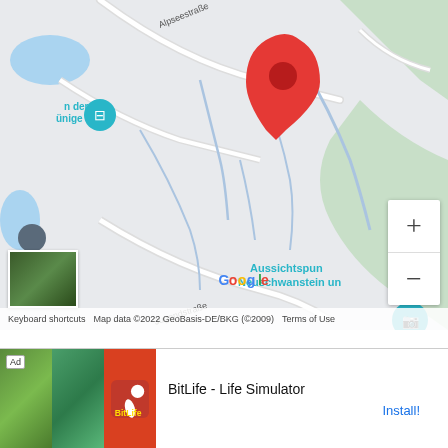[Figure (map): Google Maps screenshot showing a location in Germany near Neuschwanstein area. Shows streets including Alpseestraße, Jugendstraße, Bleckenaustraße. A red location marker pin is visible near center-top. Map UI elements include zoom controls (+/-), a street view thumbnail, camera icon, and Aussichtspunkt Neuschwanstein text. Map data ©2022 GeoBasis-DE/BKG (©2009).]
Keyboard shortcuts   Map data ©2022 GeoBasis-DE/BKG (©2009)   Terms of Use
[Figure (screenshot): Advertisement banner for BitLife - Life Simulator app. Shows 'Ad' label, app screenshots in green/teal/red sections, BitLife logo, app title and Install button.]